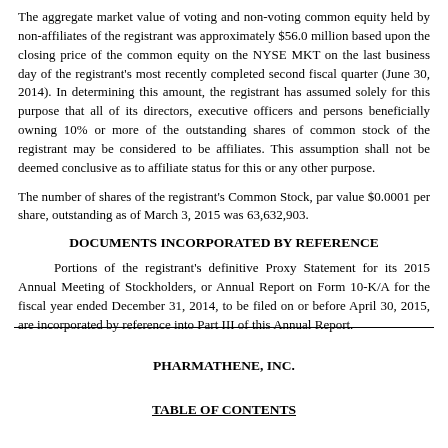The aggregate market value of voting and non-voting common equity held by non-affiliates of the registrant was approximately $56.0 million based upon the closing price of the common equity on the NYSE MKT on the last business day of the registrant's most recently completed second fiscal quarter (June 30, 2014). In determining this amount, the registrant has assumed solely for this purpose that all of its directors, executive officers and persons beneficially owning 10% or more of the outstanding shares of common stock of the registrant may be considered to be affiliates. This assumption shall not be deemed conclusive as to affiliate status for this or any other purpose.
The number of shares of the registrant's Common Stock, par value $0.0001 per share, outstanding as of March 3, 2015 was 63,632,903.
DOCUMENTS INCORPORATED BY REFERENCE
Portions of the registrant's definitive Proxy Statement for its 2015 Annual Meeting of Stockholders, or Annual Report on Form 10-K/A for the fiscal year ended December 31, 2014, to be filed on or before April 30, 2015, are incorporated by reference into Part III of this Annual Report.
PHARMATHENE, INC.
TABLE OF CONTENTS